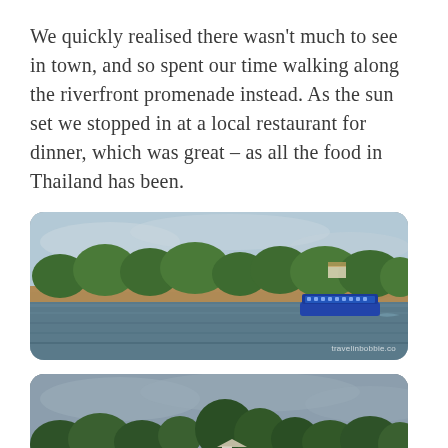We quickly realised there wasn't much to see in town, and so spent our time walking along the riverfront promenade instead. As the sun set we stopped in at a local restaurant for dinner, which was great – as all the food in Thailand has been.
[Figure (photo): Panoramic photo of a wide river with a lush green tree-lined far bank and a blue passenger ferry boat on the right side of the river. Golden hour light, cloudy sky. Rounded corners.]
[Figure (photo): Panoramic photo of a wide river with a green tree-lined far bank, a small white building visible among the trees, taken at dusk/evening. Darker tones, cloudy sky. Rounded corners.]